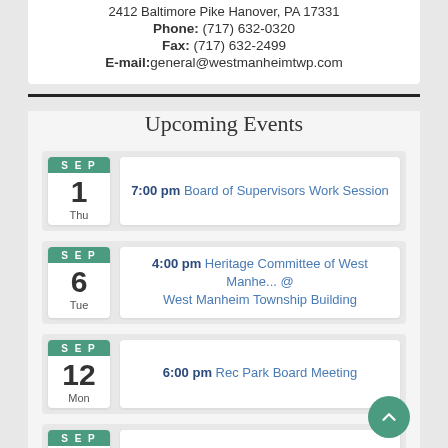2412 Baltimore Pike Hanover, PA 17331
Phone: (717) 632-0320
Fax: (717) 632-2499
E-mail: general@westmanheimtwp.com
Upcoming Events
SEP 1 Thu — 7:00 pm Board of Supervisors Work Session
SEP 6 Tue — 4:00 pm Heritage Committee of West Manhe... @ West Manheim Township Building
SEP 12 Mon — 6:00 pm Rec Park Board Meeting
SEP 15 — 6:00 pm Planning Commission Meeting